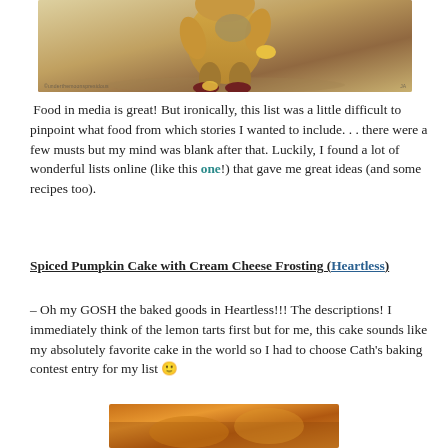[Figure (illustration): Partial illustration of an animated character (appears to be a cartoon bear or similar character) with brown/tan coloring, dropping or picking up a coin, on a light sandy/grey background. Small watermark text at bottom left and right.]
Food in media is great! But ironically, this list was a little difficult to pinpoint what food from which stories I wanted to include. . . there were a few musts but my mind was blank after that. Luckily, I found a lot of wonderful lists online (like this one!) that gave me great ideas (and some recipes too).
Spiced Pumpkin Cake with Cream Cheese Frosting (Heartless)
– Oh my GOSH the baked goods in Heartless!!! The descriptions! I immediately think of the lemon tarts first but for me, this cake sounds like my absolutely favorite cake in the world so I had to choose Cath's baking contest entry for my list 🙂
[Figure (photo): Bottom partial image showing warm orange/brown tones, likely a photo of a baked good or food item related to the post content.]